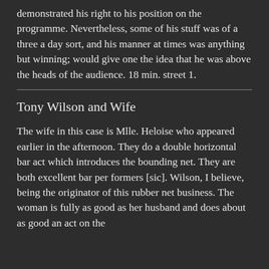demonstrated his right to his position on the programme. Nevertheless, some of his stuff was of a three a day sort, and his manner at times was anything but winning; would give one the idea that he was above the heads of the audience. 18 min. street 1.
Tony Wilson and Wife
The wife in this case is Mlle. Heloise who appeared earlier in the afternoon. They do a double horizontal bar act which introduces the bounding net. They are both excellent bar per formers [sic]. Wilson, I believe, being the originator of this rubber net business. The woman is fully as good as her husband and does about as good an act on the